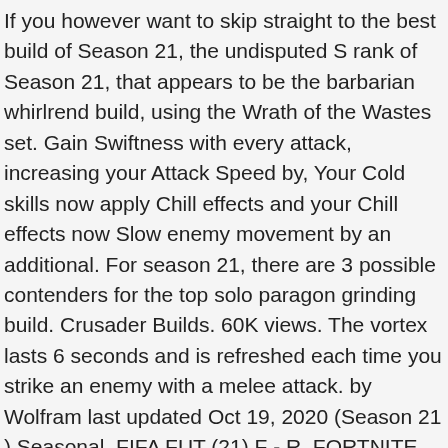If you however want to skip straight to the best build of Season 21, the undisputed S rank of Season 21, that appears to be the barbarian whirlrend build, using the Wrath of the Wastes set. Gain Swiftness with every attack, increasing your Attack Speed by, Your Cold skills now apply Chill effects and your Chill effects now Slow enemy movement by an additional. For season 21, there are 3 possible contenders for the top solo paragon grinding build. Crusader Builds. 60K views. The vortex lasts 6 seconds and is refreshed each time you strike an enemy with a melee attack. by Wolfram last updated Oct 19, 2020 (Season 21 ) Seasonal. FIFA FUT (21) F - R. FORTNITE ... Sunwuko Wave of Light Monk Solo GR Season 13 Build - Diablo 3 RoS One of the best Monk builds with one of the best Greater Rifts pushing capabilities. Serenity Tranquility. Monk